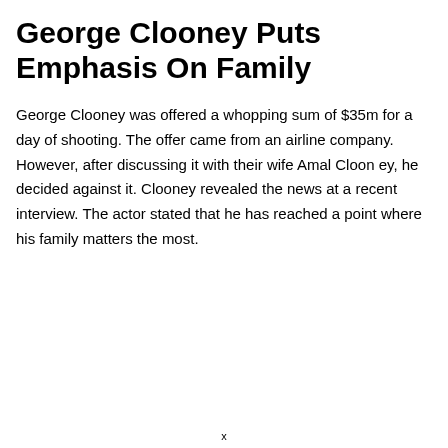George Clooney Puts Emphasis On Family
George Clooney was offered a whopping sum of $35m for a day of shooting. The offer came from an airline company. However, after discussing it with their wife Amal Cloon ey, he decided against it. Clooney revealed the news at a recent interview. The actor stated that he has reached a point where his family matters the most.
x